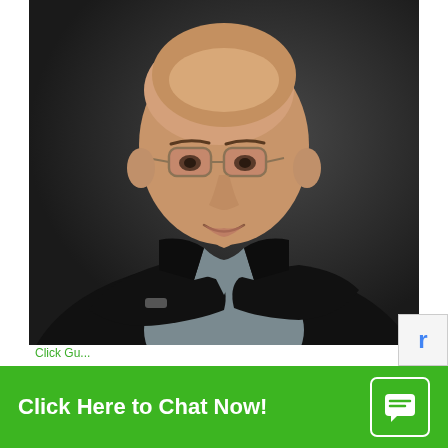[Figure (photo): Professional headshot of a bald middle-aged man wearing glasses and a black blazer over a grey shirt, arms crossed, smiling slightly, against a dark grey background]
Click Here to Chat Now!